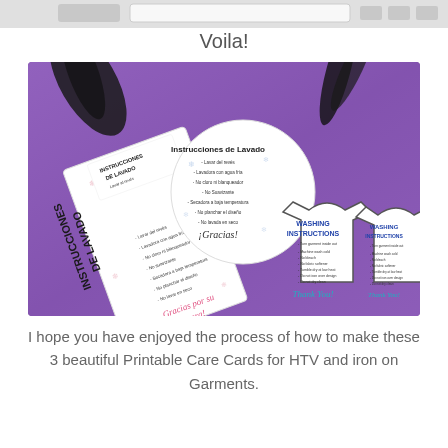[Figure (screenshot): Top strip showing partial browser/app chrome with gray toolbar]
Voila!
[Figure (photo): Photo of printable care cards for HTV garments placed on a purple t-shirt. Cards include Spanish washing instruction cards (rectangular and circular shapes) and English washing instruction cards shaped like t-shirts. Labels read 'Instrucciones de Lavado', 'Washing Instructions', 'Gracias por su compra!', 'Thank You!']
I hope you have enjoyed the process of how to make these 3 beautiful Printable Care Cards for HTV and iron on Garments.